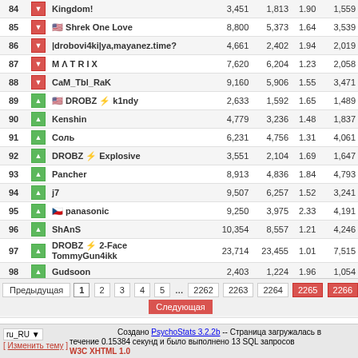| # |  | Name | Kills | Deaths | K/D | Score |
| --- | --- | --- | --- | --- | --- | --- |
| 84 | ↓ | Kingdom! | 3,451 | 1,813 | 1.90 | 1,559 |
| 85 | ↓ | 🇺🇸 Shrek One Love | 8,800 | 5,373 | 1.64 | 3,539 |
| 86 | ↓ | |drobovi4ki|ya,mayanez.time? | 4,661 | 2,402 | 1.94 | 2,019 |
| 87 | ↓ | M Λ T R I X | 7,620 | 6,204 | 1.23 | 2,058 |
| 88 | ↓ | CaM_Tbl_RaK | 9,160 | 5,906 | 1.55 | 3,471 |
| 89 | ↑ | 🇺🇸 DROBZ ⚡ k1ndy | 2,633 | 1,592 | 1.65 | 1,489 |
| 90 | ↑ | Kenshin | 4,779 | 3,236 | 1.48 | 1,837 |
| 91 | ↑ | Соль | 6,231 | 4,756 | 1.31 | 4,061 |
| 92 | ↑ | DROBZ ⚡ Explosive | 3,551 | 2,104 | 1.69 | 1,647 |
| 93 | ↑ | Pancher | 8,913 | 4,836 | 1.84 | 4,793 |
| 94 | ↑ | j7 | 9,507 | 6,257 | 1.52 | 3,241 |
| 95 | ↑ | 🇨🇿 panasonic | 9,250 | 3,975 | 2.33 | 4,191 |
| 96 | ↑ | ShAnS | 10,354 | 8,557 | 1.21 | 4,246 |
| 97 | ↑ | DROBZ ⚡ 2-Face TommyGun4ikk | 23,714 | 23,455 | 1.01 | 7,515 |
| 98 | ↑ | Gudsoon | 2,403 | 1,224 | 1.96 | 1,054 |
| 99 | ↓ | Endy Temovich | 9,484 | 4,791 | 1.98 | 2,708 |
| 100 | ↓ | 🇺🇸 Tarzan |Mariupol| | 32,349 | 22,195 | 1.46 | 11,948 |
Pagination: Предыдущая 1 2 3 4 5 ... 2262 2263 2264 2265 2266 Следующая
ru_RU | [ Изменить тему ] Создано PsychoStats 3.2.2b -- Страница загружалась в течение 0.15384 секунд и было выполнено 13 SQL запросов W3C XHTML 1.0